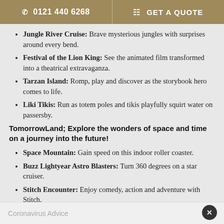0121 440 6268 | GET A QUOTE
Jungle River Cruise: Brave mysterious jungles with surprises around every bend.
Festival of the Lion King: See the animated film transformed into a theatrical extravaganza.
Tarzan Island: Romp, play and discover as the storybook hero comes to life.
Liki Tikis: Run as totem poles and tikis playfully squirt water on passersby.
TomorrowLand; Explore the wonders of space and time on a journey into the future!
Space Mountain: Gain speed on this indoor roller coaster.
Buzz Lightyear Astro Blasters: Turn 360 degrees on a star cruiser.
Stitch Encounter: Enjoy comedy, action and adventure with Stitch.
Coronavirus Advice